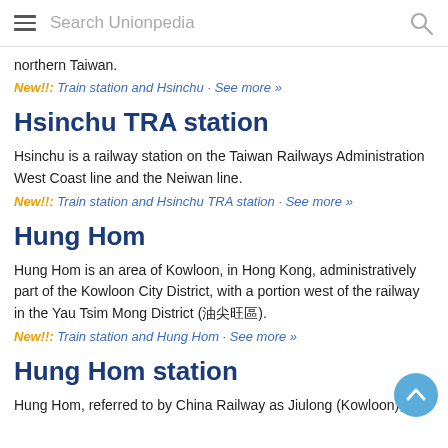Search Unionpedia
northern Taiwan.
New!!: Train station and Hsinchu · See more »
Hsinchu TRA station
Hsinchu is a railway station on the Taiwan Railways Administration West Coast line and the Neiwan line.
New!!: Train station and Hsinchu TRA station · See more »
Hung Hom
Hung Hom is an area of Kowloon, in Hong Kong, administratively part of the Kowloon City District, with a portion west of the railway in the Yau Tsim Mong District (油尖旺區).
New!!: Train station and Hung Hom · See more »
Hung Hom station
Hung Hom, referred to by China Railway as Jiulong (Kowloon), is